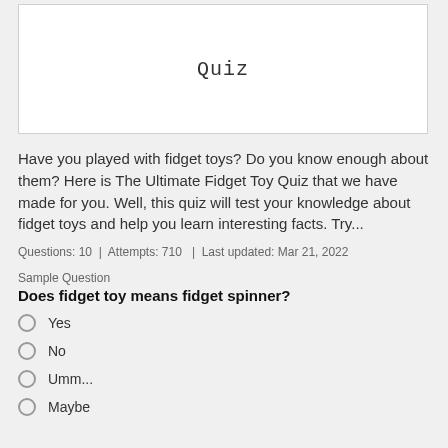Quiz
Have you played with fidget toys? Do you know enough about them? Here is The Ultimate Fidget Toy Quiz that we have made for you. Well, this quiz will test your knowledge about fidget toys and help you learn interesting facts. Try...
Questions: 10  |  Attempts: 710  |  Last updated: Mar 21, 2022
Sample Question
Does fidget toy means fidget spinner?
Yes
No
Umm...
Maybe